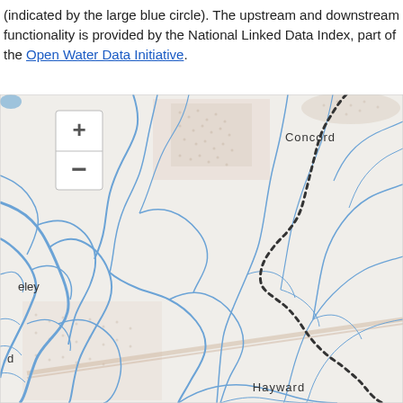(indicated by the large blue circle). The upstream and downstream functionality is provided by the National Linked Data Index, part of the Open Water Data Initiative.
[Figure (map): Interactive web map showing watershed/stream network for the San Francisco Bay Area region. Blue lines depict waterways and streams. Dotted black line traces a boundary or route from upper right area (near Concord label) curving down and to the right. Map shows labeled locations: Concord (upper center), eley (left side), d (left middle), and Hayward (lower center). Map has zoom controls (+/-) in upper left corner. Background shows terrain with dotted stipple patterns indicating urban/developed areas. Rivers and streams rendered as blue lines of varying thickness.]